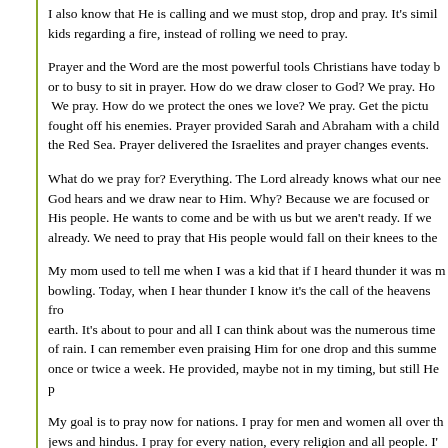I also know that He is calling and we must stop, drop and pray. It's similar to what we teach kids regarding a fire, instead of rolling we need to pray.
Prayer and the Word are the most powerful tools Christians have today but we are often to tired or to busy to sit in prayer. How do we draw closer to God? We pray. How do we grow in faith? We pray. How do we protect the ones we love? We pray. Get the picture? David prayed and fought off his enemies. Prayer provided Sarah and Abraham with a child. Moses prayed and split the Red Sea. Prayer delivered the Israelites and prayer changes events.
What do we pray for? Everything. The Lord already knows what our needs are but when we pray God hears and we draw near to Him. Why? Because we are focused on Him. God is waiting for His people. He wants to come and be with us but we aren't ready. If we were ready He would be here already. We need to pray that His people would fall on their knees to the Lord.
My mom used to tell me when I was a kid that if I heard thunder it was my grandfather up in heaven bowling. Today, when I hear thunder I know it's the call of the heavens from God to pour out on the earth. It's about to pour and all I can think about was the numerous times I prayed and asked for rain. I can remember even praising Him for one drop and this summer He is sending rain at least once or twice a week. He provided, maybe not in my timing, but still He provided.
My goal is to pray now for nations. I pray for men and women all over the world, muslims, buddhists, jews and hindus. I pray for every nation, every religion and all people. I'm asking God to reveal Himself and that peace would once again be on this earth. Please join me and Anne Graham Lotz starting July 1-7. Take prayer seriously and love someone you don't know. Ask Jesus to come to earth and provide for all. God is calling us ladies.